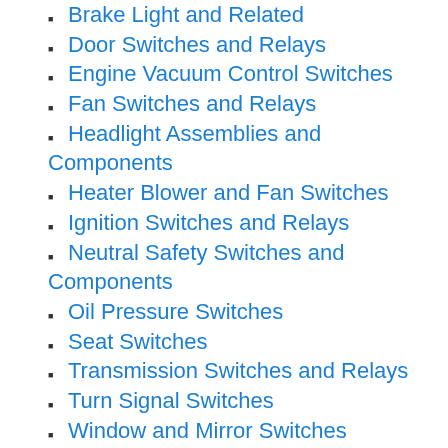Brake Light and Related
Door Switches and Relays
Engine Vacuum Control Switches
Fan Switches and Relays
Headlight Assemblies and Components
Heater Blower and Fan Switches
Ignition Switches and Relays
Neutral Safety Switches and Components
Oil Pressure Switches
Seat Switches
Transmission Switches and Relays
Turn Signal Switches
Window and Mirror Switches
Tools
Body and Paint Repair
Chassis and Suspension Tools
Electrical System Tools
Engine Tools
Engine...